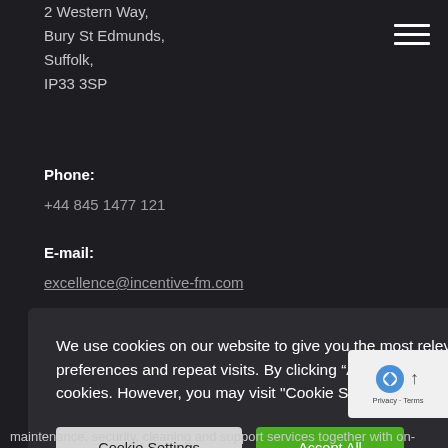2 Western Way,
Bury St Edmunds,
Suffolk,
IP33 3SP
Phone:
+44 845 1477 121
E-mail:
excellence@incentive-fm.com
We use cookies on our website to give you the most relevant experience by remembering your preferences and repeat visits. By clicking “Accept All”, you consent to the use of ALL the cookies. However, you may visit "Cookie Settings" to provide a controlled consent.
Cookie Settings
Accept All
maintenance, security, cleaning and support services together with on-